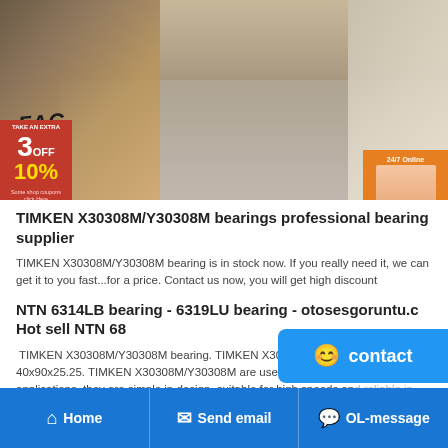[Figure (photo): Warehouse/store interior showing shelves stocked with boxes and bearing products, with promotional banners on left and right sides]
TIMKEN X30308M/Y30308M bearings professional bearing supplier
TIMKEN X30308M/Y30308M bearing is in stock now. If you really need it, we can get it to you fast...for a price. Contact us now, you will get high discount
NTN 6314LB bearing - 6319LU bearing - otosesgoruntu.c Hot sell NTN 68
TIMKEN X30308M/Y30308M bearing. TIMKEN X30308M/Y30308M. Size: 40x90x25.25. TIMKEN X30308M/Y30308M are used in a wide variety of applications, they are simple in design, suitable for high speeds and reliable in operation, and need little best NTN
Home   Send email   OL-message